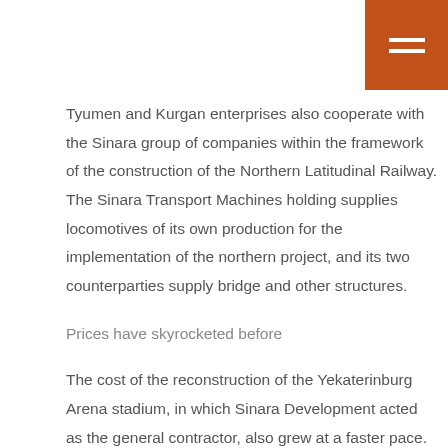[Figure (other): Orange hamburger menu button in top-right corner]
Tyumen and Kurgan enterprises also cooperate with the Sinara group of companies within the framework of the construction of the Northern Latitudinal Railway. The Sinara Transport Machines holding supplies locomotives of its own production for the implementation of the northern project, and its two counterparties supply bridge and other structures.
Prices have skyrocketed before
The cost of the reconstruction of the Yekaterinburg Arena stadium, in which Sinara Development acted as the general contractor, also grew at a faster pace. In September 2014, Governor Yevgeny Kuvyashev promised